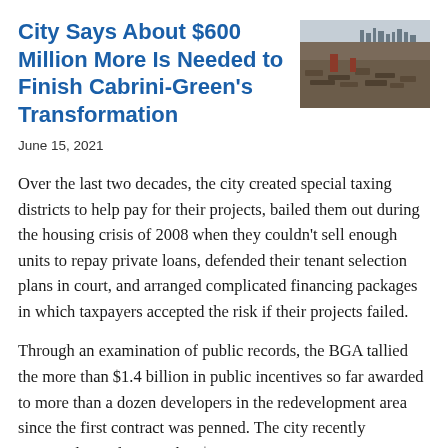City Says About $600 Million More Is Needed to Finish Cabrini-Green's Transformation
[Figure (photo): Aerial or ground-level photo of construction/demolition site with city skyline in background]
June 15, 2021
Over the last two decades, the city created special taxing districts to help pay for their projects, bailed them out during the housing crisis of 2008 when they couldn't sell enough units to repay private loans, defended their tenant selection plans in court, and arranged complicated financing packages in which taxpayers accepted the risk if their projects failed.
Through an examination of public records, the BGA tallied the more than $1.4 billion in public incentives so far awarded to more than a dozen developers in the redevelopment area since the first contract was penned. The city recently approved spending another $600